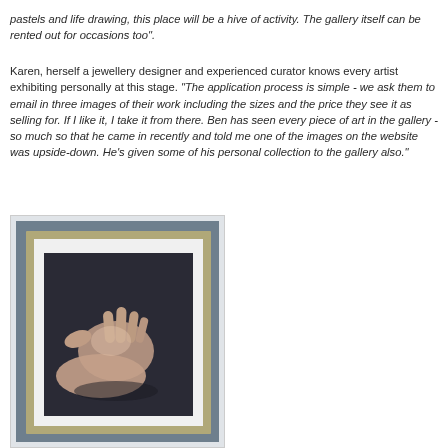pastels and life drawing, this place will be a hive of activity. The gallery itself can be rented out for occasions too".
Karen, herself a jewellery designer and experienced curator knows every artist exhibiting personally at this stage. "The application process is simple - we ask them to email in three images of their work including the sizes and the price they see it as selling for. If I like it, I take it from there. Ben has seen every piece of art in the gallery - so much so that he came in recently and told me one of the images on the website was upside-down. He's given some of his personal collection to the gallery also."
[Figure (photo): A framed painting displayed against a grey-blue background. The painting shows a detailed realistic depiction of an outstretched human hand, rendered in soft pastel tones against a dark background, with a white mat and silver/gold frame.]